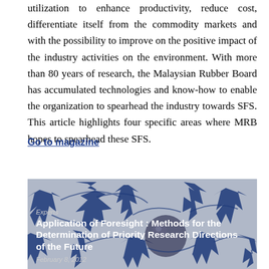utilization to enhance productivity, reduce cost, differentiate itself from the commodity markets and with the possibility to improve on the positive impact of the industry activities on the environment. With more than 80 years of research, the Malaysian Rubber Board has accumulated technologies and know-how to enable the organization to spearhead the industry towards SFS. This article highlights four specific areas where MRB hopes to spearhead these SFS.
Go to magazine
[Figure (photo): Image with blue arrows on grey background, overlaid with text: 'Experts' label, article title 'Application of Foresight : Methods for the Determination of Priority Research Directions of the Future', and date 'February 8, 2012'.]